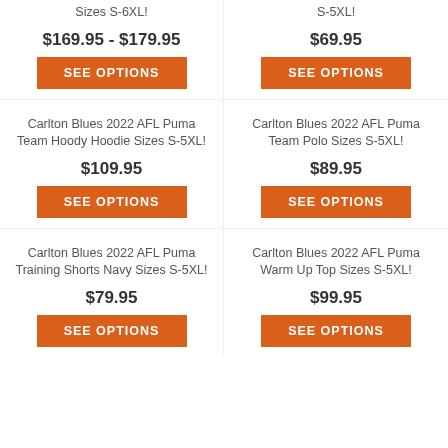Sizes S-6XL!
$169.95 - $179.95
SEE OPTIONS
S-5XL!
$69.95
SEE OPTIONS
Carlton Blues 2022 AFL Puma Team Hoody Hoodie Sizes S-5XL!
$109.95
SEE OPTIONS
Carlton Blues 2022 AFL Puma Team Polo Sizes S-5XL!
$89.95
SEE OPTIONS
Carlton Blues 2022 AFL Puma Training Shorts Navy Sizes S-5XL!
$79.95
SEE OPTIONS
Carlton Blues 2022 AFL Puma Warm Up Top Sizes S-5XL!
$99.95
SEE OPTIONS